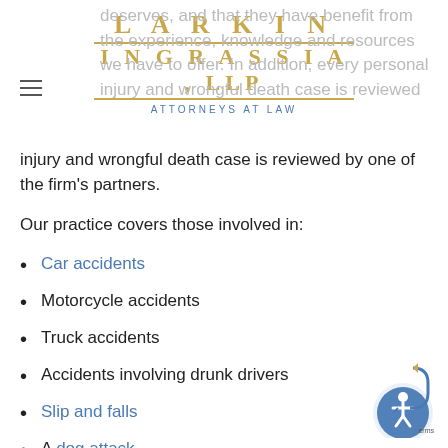LARKIN INGRASSIA, LLP ATTORNEYS AT LAW
deserves, and that they have benefit from the experience, knowledge and resources we have to offer. In addition, every personal injury and wrongful death case is reviewed by one of the firm's partners.
Our practice covers those involved in:
Car accidents
Motorcycle accidents
Truck accidents
Accidents involving drunk drivers
Slip and falls
A dog attack
Accidents on construction sites